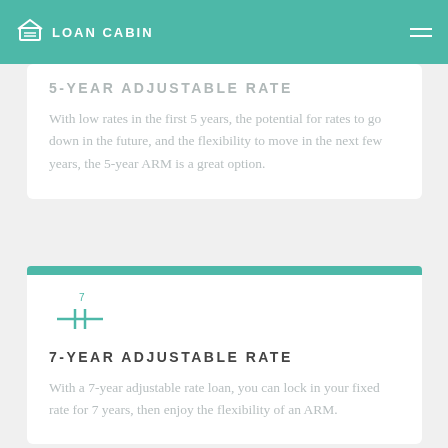LOAN CABIN
5-YEAR ADJUSTABLE RATE
With low rates in the first 5 years, the potential for rates to go down in the future, and the flexibility to move in the next few years, the 5-year ARM is a great option.
[Figure (illustration): Stylized numeric icon showing 7 with horizontal lines, representing 7-year ARM loan type]
7-YEAR ADJUSTABLE RATE
With a 7-year adjustable rate loan, you can lock in your fixed rate for 7 years, then enjoy the flexibility of an ARM.